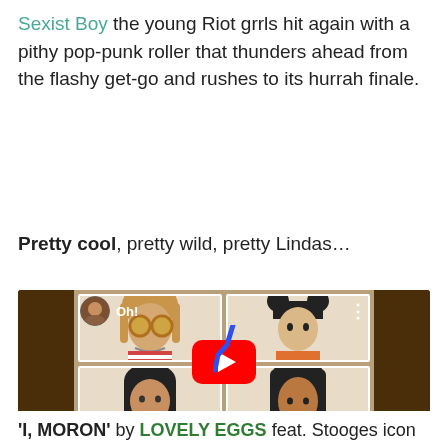Sexist Boy the young Riot grrls hit again with a pithy pop-punk roller that thunders ahead from the flashy get-go and rushes to its hurrah finale.
Pretty cool, pretty wild, pretty Lindas...
[Figure (screenshot): YouTube embed showing a music video thumbnail with four young women in photo booth style portraits, with a red YouTube play button in the center, channel avatar and title 'Oh!' in the top-left, three dots menu top-right, dark brown side bars, and a blue annotation mark.]
'I, MORON' by LOVELY EGGS feat. Stooges icon